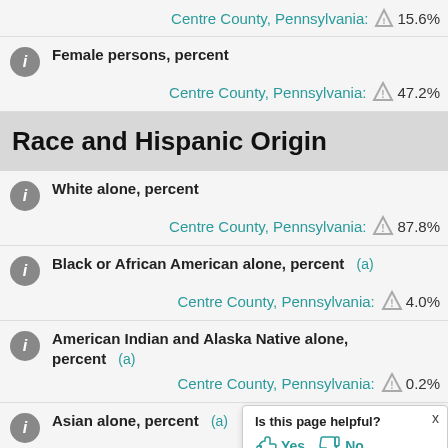Centre County, Pennsylvania: ⚠ 15.6%
Female persons, percent — Centre County, Pennsylvania: ⚠ 47.2%
Race and Hispanic Origin
White alone, percent — Centre County, Pennsylvania: ⚠ 87.8%
Black or African American alone, percent (a) — Centre County, Pennsylvania: ⚠ 4.0%
American Indian and Alaska Native alone, percent (a) — Centre County, Pennsylvania: ⚠ 0.2%
Asian alone, percent (a) — Centre County, Pennsylvania:
Is this page helpful? Yes No